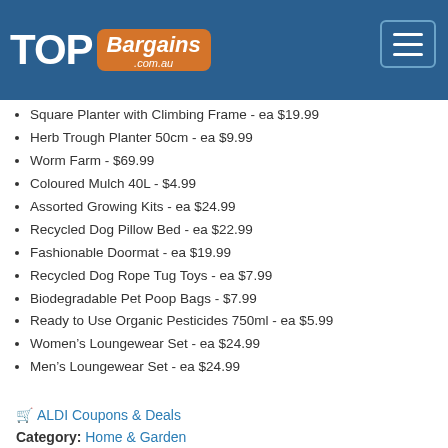Top Bargains .com.au
Square Planter with Climbing Frame - ea $19.99
Herb Trough Planter 50cm - ea $9.99
Worm Farm - $69.99
Coloured Mulch 40L - $4.99
Assorted Growing Kits - ea $24.99
Recycled Dog Pillow Bed - ea $22.99
Fashionable Doormat - ea $19.99
Recycled Dog Rope Tug Toys - ea $7.99
Biodegradable Pet Poop Bags - $7.99
Ready to Use Organic Pesticides 750ml - ea $5.99
Women's Loungewear Set - ea $24.99
Men's Loungewear Set - ea $24.99
ALDI Coupons & Deals
Category: Home & Garden
Kitchen & Home Appliances